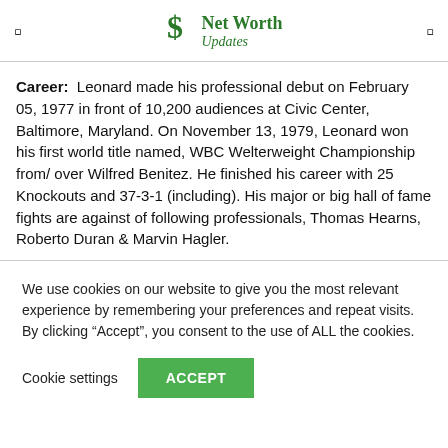Net Worth Updates
Career: Leonard made his professional debut on February 05, 1977 in front of 10,200 audiences at Civic Center, Baltimore, Maryland. On November 13, 1979, Leonard won his first world title named, WBC Welterweight Championship from/ over Wilfred Benitez. He finished his career with 25 Knockouts and 37-3-1 (including). His major or big hall of fame fights are against of following professionals, Thomas Hearns, Roberto Duran & Marvin Hagler.
We use cookies on our website to give you the most relevant experience by remembering your preferences and repeat visits. By clicking “Accept”, you consent to the use of ALL the cookies.
Cookie settings  ACCEPT